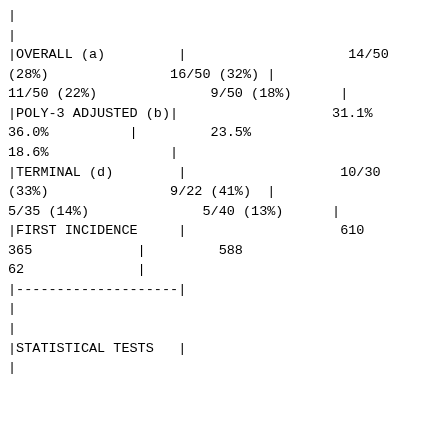| | |  |  |  |
| | |  |  |  |
| |OVERALL (a) | | |  | 14/50 (28%) |
|  | 16/50 (32%) | | |  |
| 11/50 (22%) |  | 9/50 (18%) | | |
| |POLY-3 ADJUSTED (b)| |  | 31.1% |  |
| 36.0% | | | 23.5% |  |
| 18.6% |  | | |  |
| |TERMINAL (d) | | |  | 10/30 (33%) |
|  | 9/22 (41%) | | |  |
| 5/35 (14%) |  | 5/40 (13%) | | |
| |FIRST INCIDENCE | | |  | 610 |
| 365 | | | 588 |  |
| 62 |  | | |  |
| |--------------------| |  |  |  |
| | |  |  |  |
| | |  |  |  |
| |STATISTICAL TESTS | | |  |  |
| | |  |  |  |